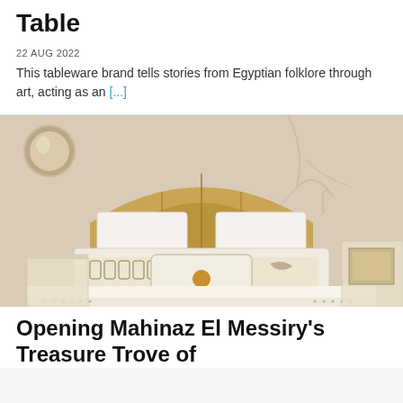Table
22 AUG 2022
This tableware brand tells stories from Egyptian folklore through art, acting as an [...]
[Figure (photo): A bedroom with Egyptian-themed decorative pillows featuring Eye of Ra and hieroglyphic motifs, white bedding, a semicircular wooden headboard, and mural wall art.]
Opening Mahinaz El Messiry's Treasure Trove of